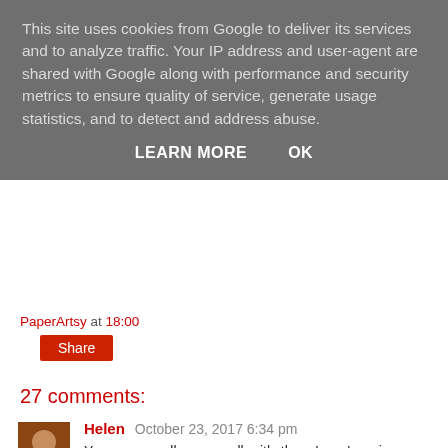This site uses cookies from Google to deliver its services and to analyze traffic. Your IP address and user-agent are shared with Google along with performance and security metrics to ensure quality of service, generate usage statistics, and to detect and address abuse.
LEARN MORE    OK
PaperArtsy at 18:00
Share
27 comments:
Helen October 23, 2017 6:34 pm
You were really on a roll with these! you've given me plenty of ideas but just need the push to get started now! I'm trying to work out which batch I like most - it's a tough one!
Reply